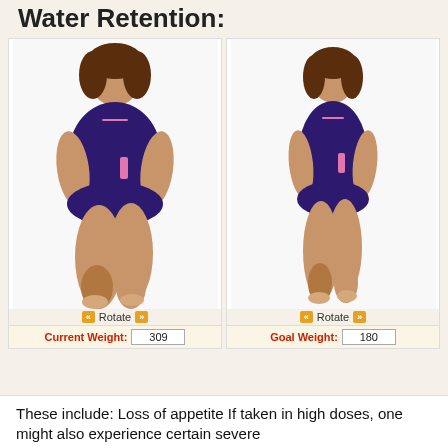Water Retention:
[Figure (illustration): Two 3D rendered female body figures side by side. Left figure shows a heavier body shape wearing a dark purple swimsuit, labeled Current Weight 309. Right figure shows a slimmer body shape wearing a similar dark purple swimsuit, labeled Goal Weight 180. Each figure has a Rotate button with orange arrow icons below it.]
These include: Loss of appetite If taken in high doses, one might also experience certain severe